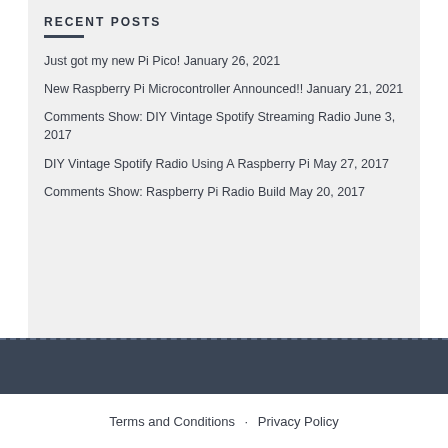RECENT POSTS
Just got my new Pi Pico! January 26, 2021
New Raspberry Pi Microcontroller Announced!! January 21, 2021
Comments Show: DIY Vintage Spotify Streaming Radio June 3, 2017
DIY Vintage Spotify Radio Using A Raspberry Pi May 27, 2017
Comments Show: Raspberry Pi Radio Build May 20, 2017
Terms and Conditions · Privacy Policy